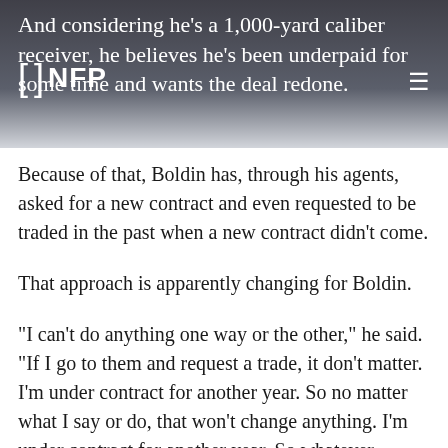And considering he's a 1,000-yard caliber receiver, he believes he's been underpaid for some time and wants the deal redone.
Because of that, Boldin has, through his agents, asked for a new contract and even requested to be traded in the past when a new contract didn't come.
That approach is apparently changing for Boldin.
"I can't do anything one way or the other," he said. "If I go to them and request a trade, it don't matter. I'm under contract for another year. So no matter what I say or do, that won't change anything. I'm under contract for another year. So whatever happens, it depends on what the Cardinals want to do. I'm not worried about it at all."
Boldin also has no concern about the perception he's become injury-prone. He'll be 30 years old in October and